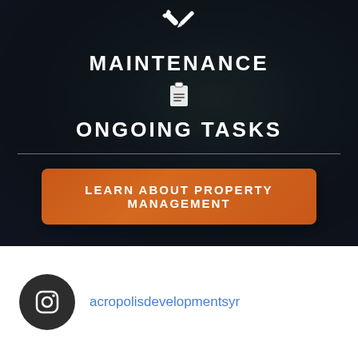[Figure (illustration): Dark overlay background with landscape/nature scene behind maintenance content]
MAINTENANCE
ONGOING TASKS
LEARN ABOUT PROPERTY MANAGEMENT
acropolisdevelopmentsyr